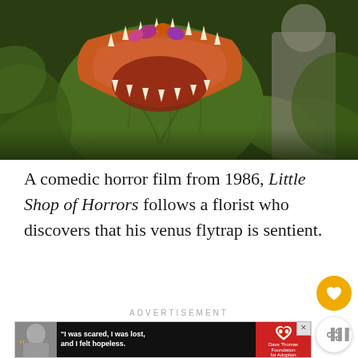[Figure (photo): A large green carnivorous plant (Audrey II from Little Shop of Horrors) with an open mouth showing sharp teeth, surrounded by green foliage, with a person partially visible on the right side.]
A comedic horror film from 1986, Little Shop of Horrors follows a florist who discovers that his venus flytrap is sentient.
ADVERTISEMENT
[Figure (photo): Advertisement banner showing a woman with quote 'I was scared, I was lost, and I felt hopeless.' with Dave Thomas Foundation for Adoption logo.]